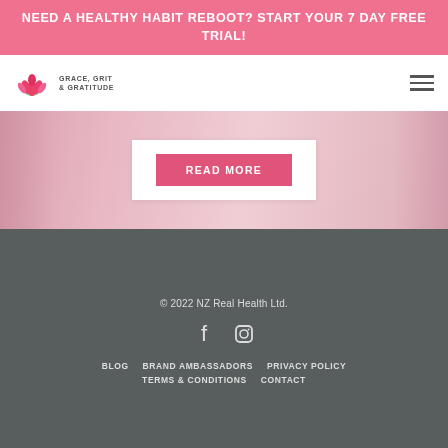NEED A HEALTHY HABIT REBOOT? START YOUR 7 DAY FREE TRIAL!
[Figure (logo): Grace, Grit & Gratitude lotus flower logo with brand name text]
[Figure (illustration): Pink floral hero banner image with a white card containing a READ MORE button]
© 2022 NZ Real Health Ltd.
BLOG  BRAND AMBASSADORS  PRIVACY POLICY  TERMS & CONDITIONS  CONTACT